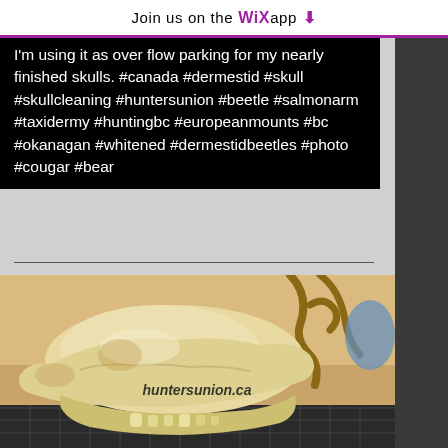Join us on the WiX app ⬇
I'm using it as over flow parking for my nearly finished skulls. #canada #dermestid #skull #skullcleaning #huntersunion #beetle #salmonarm #taxidermy #huntingbc #europeanmounts #bc #okanagan #whitened #dermestidbeetles #photo #cougar #bear
[Figure (photo): A whitened animal skull (likely bear or cougar) displayed on a surface with antlers visible in the background. Watermark text 'huntersunion.ca' overlaid on the image.]